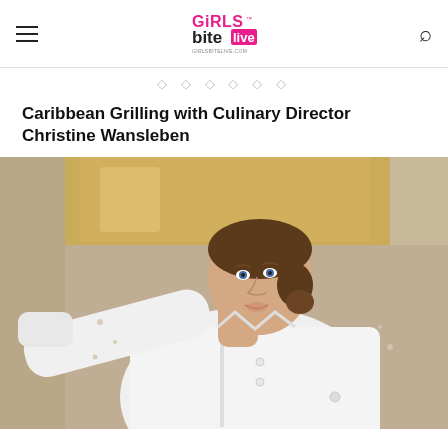Girls Bite Live — GIRLSBITELIVE.COM
Caribbean Grilling with Culinary Director Christine Wansleben
[Figure (photo): Photo of a woman in a white chef's coat gesturing with her arm extended, in a professional kitchen with brass/copper range hood in the background.]